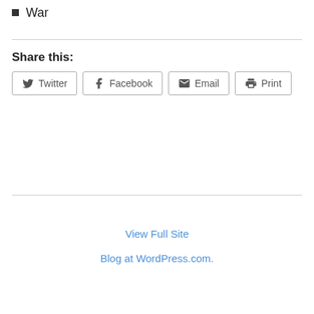War
Share this:
Twitter  Facebook  Email  Print
View Full Site
Blog at WordPress.com.